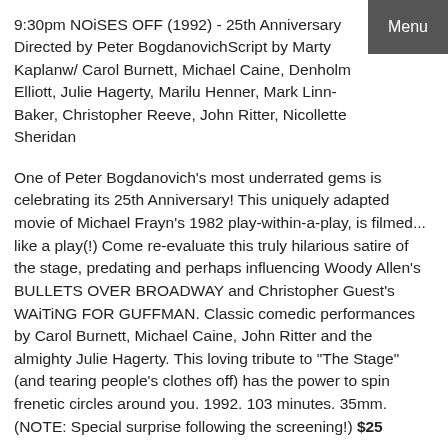9:30pm NOiSES OFF (1992) - 25th Anniversary Directed by Peter BogdanovichScript by Marty Kaplanw/ Carol Burnett, Michael Caine, Denholm Elliott, Julie Hagerty, Marilu Henner, Mark Linn-Baker, Christopher Reeve, John Ritter, Nicollette Sheridan
One of Peter Bogdanovich's most underrated gems is celebrating its 25th Anniversary! This uniquely adapted movie of Michael Frayn's 1982 play-within-a-play, is filmed... like a play(!) Come re-evaluate this truly hilarious satire of the stage, predating and perhaps influencing Woody Allen's BULLETS OVER BROADWAY and Christopher Guest's WAiTiNG FOR GUFFMAN. Classic comedic performances by Carol Burnett, Michael Caine, John Ritter and the almighty Julie Hagerty. This loving tribute to "The Stage" (and tearing people's clothes off) has the power to spin frenetic circles around you. 1992. 103 minutes. 35mm.
(NOTE: Special surprise following the screening!) $25